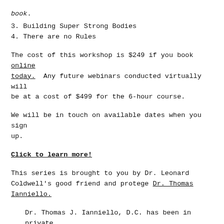book.
3.  Building Super Strong Bodies
4.  There are no Rules
The cost of this workshop is $249 if you book online today.  Any future webinars conducted virtually will be at a cost of $499 for the 6-hour course.
We will be in touch on available dates when you sign up.
Click to learn more!
This series is brought to you by Dr. Leonard Coldwell's good friend and protege Dr. Thomas Ianniello.
Dr. Thomas J. Ianniello, D.C. has been in private